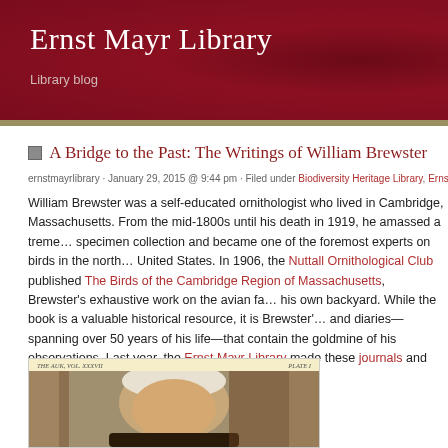Ernst Mayr Library
Library blog
A Bridge to the Past: The Writings of William Brewster
ernstmayrlibrary · January 29, 2015 @ 9:44 pm · Filed under Biodiversity Heritage Library, Ernst Mayr Li…
William Brewster was a self-educated ornithologist who lived in Cambridge, Massachusetts. From the mid-1800s until his death in 1919, he amassed a tremendous specimen collection and became one of the foremost experts on birds in the northeastern United States. In 1906, the Nuttall Ornithological Club published The Birds of the Cambridge Region of Massachusetts, Brewster's exhaustive work on the avian fauna of his own backyard. While the book is a valuable historical resource, it is Brewster's journals and diaries—spanning over 50 years of his life—that contain the goldmine of his observations. Last year, the Ernst Mayr Library made these journals and diaries available on BHL.
[Figure (photo): Sepia-toned portrait photograph of William Brewster, an elderly man, from a historical publication. Top labels read 'THE AUK, VOL. XXXVII' and 'PLATE I'.]